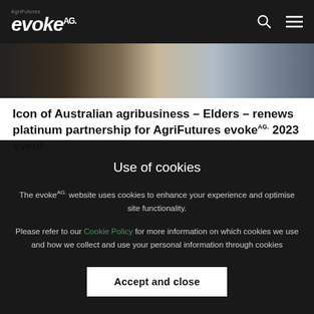AgriFutures evoke AG. [navigation bar with search and menu icons]
[Figure (photo): Partial photo showing people at what appears to be an agribusiness event, cropped at top of frame]
Icon of Australian agribusiness – Elders – renews platinum partnership for AgriFutures evoke AG. 2023 event
Use of cookies
The evoke AG. website uses cookies to enhance your experience and optimise site functionality.
Please refer to our Cookie Policy for more information on which cookies we use and how we collect and use your personal information through cookies
Accept and close